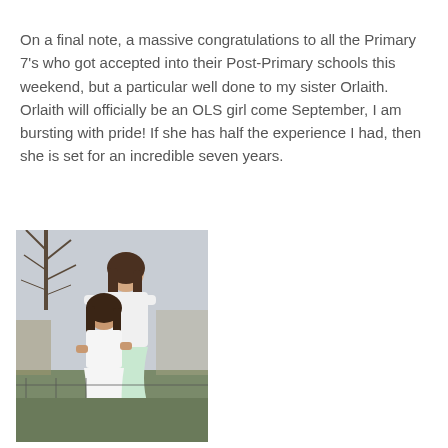On a final note, a massive congratulations to all the Primary 7's who got accepted into their Post-Primary schools this weekend, but a particular well done to my sister Orlaith. Orlaith will officially be an OLS girl come September, I am bursting with pride! If she has half the experience I had, then she is set for an incredible seven years.
[Figure (photo): Two girls posing outdoors. A younger girl in a white lace dress stands in front, and an older girl in a white top and light mint/green skirt stands behind her with her arms around the younger girl. There are bare trees and a garden in the background.]